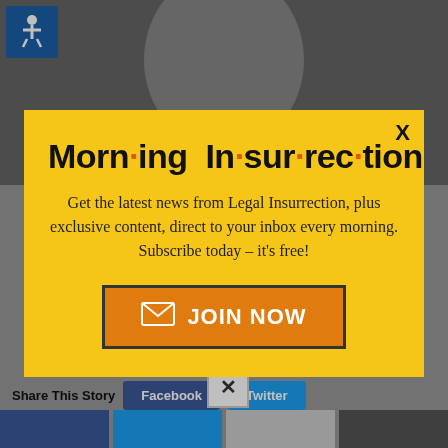[Figure (photo): Grayscale photo of a man in a suit with hand raised near chin, thinking pose. Blue accessibility icon in top-left corner.]
[Figure (screenshot): Modal popup with yellow background. Title reads 'Morning Insurrection' with orange dots between syllables. Body text: 'Get the latest news from Legal Insurrection, plus exclusive content, direct to your inbox every morning. Subscribe today – it's free!' Orange JOIN NOW button with envelope icon. X close button in top-right.]
Share This Story
[Figure (screenshot): Bottom section showing Facebook and Twitter share buttons, and a row of share icon boxes.]